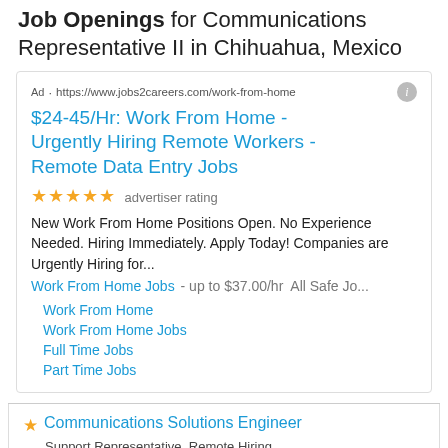Job Openings for Communications Representative II in Chihuahua, Mexico
[Figure (screenshot): Advertisement box from jobs2careers.com for remote work from home data entry jobs paying $24-45/hr with 5-star advertiser rating, sub-links for Work From Home, Work From Home Jobs, Full Time Jobs, Part Time Jobs]
Communications Solutions Engineer ...
Ad · https://www.jobs2careers.com/work-from-home